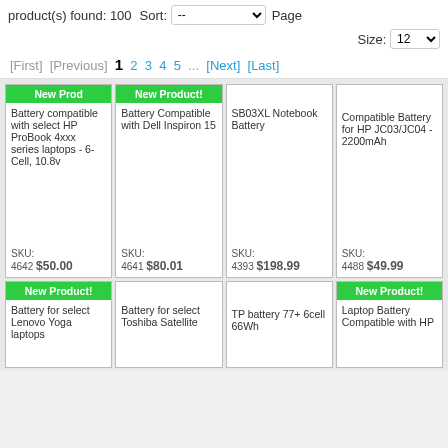product(s) found: 100
Sort: --
Page
Size: 12
[First] [Previous] 1 2 3 4 5 ... [Next] [Last]
New Product! Battery compatible with select HP ProBook 4xxx series laptops - 6-Cell, 10.8v SKU: 4642 $50.00
New Product! Battery Compatible with Dell Inspiron 15 SKU: 4641 $80.01
New Product! SB03XL Notebook Battery SKU: 4393 $198.99
Compatible Battery for HP JC03/JC04 - 2200mAh SKU: 4488 $49.99
New Product! Battery for select Lenovo Yoga laptops
New Product! Battery for select Toshiba Satellite
TP battery 77+ 6cell 66Wh
New Product! Laptop Battery Compatible with HP